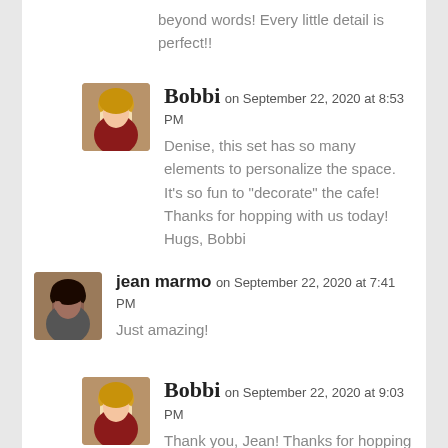beyond words! Every little detail is perfect!!
Bobbi on September 22, 2020 at 8:53 PM
Denise, this set has so many elements to personalize the space. It's so fun to "decorate" the cafe! Thanks for hopping with us today! Hugs, Bobbi
jean marmo on September 22, 2020 at 7:41 PM
Just amazing!
Bobbi on September 22, 2020 at 9:03 PM
Thank you, Jean! Thanks for hopping with us